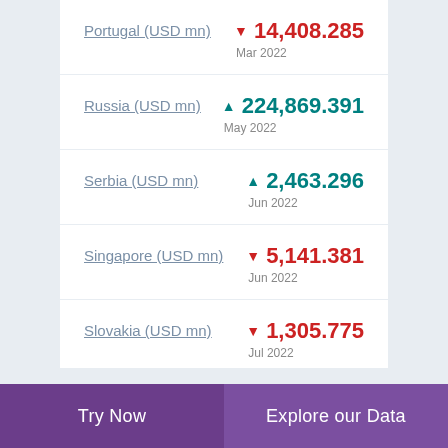Portugal (USD mn) ▼ 14,408.285 Mar 2022
Russia (USD mn) ▲ 224,869.391 May 2022
Serbia (USD mn) ▲ 2,463.296 Jun 2022
Singapore (USD mn) ▼ 5,141.381 Jun 2022
Slovakia (USD mn) ▼ 1,305.775 Jul 2022
▲ 1,187.892
Try Now   Explore our Data